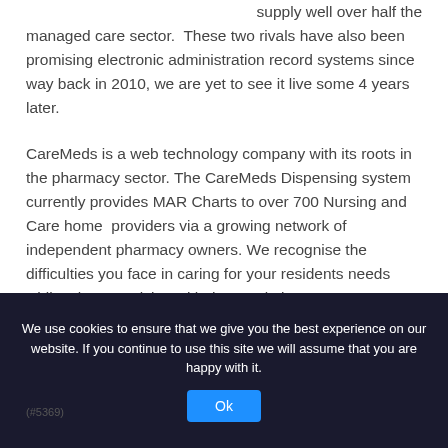supply well over half the managed care sector.  These two rivals have also been promising electronic administration record systems since way back in 2010, we are yet to see it live some 4 years later.
CareMeds is a web technology company with its roots in the pharmacy sector. The CareMeds Dispensing system currently provides MAR Charts to over 700 Nursing and Care home providers via a growing network of independent pharmacy owners. We recognise the difficulties you face in caring for your residents needs whilst also complying with the regulations.
We use cookies to ensure that we give you the best experience on our website. If you continue to use this site we will assume that you are happy with it.